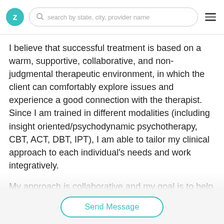search by state, city, provider name
I believe that successful treatment is based on a warm, supportive, collaborative, and non-judgmental therapeutic environment, in which the client can comfortably explore issues and experience a good connection with the therapist. Since I am trained in different modalities (including insight oriented/psychodynamic psychotherapy, CBT, ACT, DBT, IPT), I am able to tailor my clinical approach to each individual's needs and work integratively.
My approach is collaborative and my goal is to help my clients learn new and more effective coping skills, make meaningful life changes, heal from past trauma, establish
Send Message